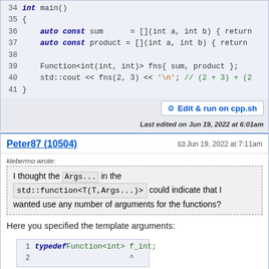[Figure (screenshot): Code block showing C++ code lines 34-41 with line numbers. Lines include int main(), auto const sum and product as lambdas, Function<int(int,int)> fns, and std::cout statement.]
Edit & run on cpp.sh
Last edited on Jun 19, 2022 at 6:01am
Peter87 (10504)
Jun 19, 2022 at 7:11am
klebermo wrote:
I thought the Args... in the std::function<T(T,Args...)> could indicate that I wanted use any number of arguments for the functions?
Here you specified the template arguments:
[Figure (screenshot): Small code block showing: line 1: typedef Function<int> f_int; line 2: ^ (caret pointer)]